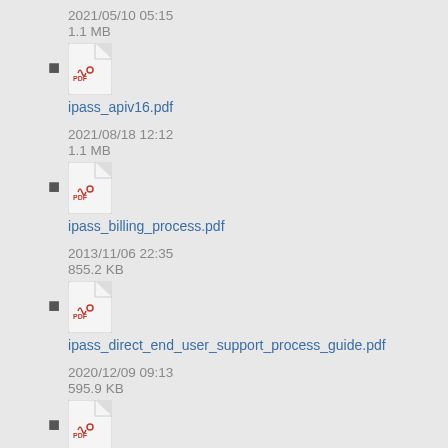2021/05/10 05:15
1.1 MB
ipass_apiv16.pdf
2021/08/18 12:12
1.1 MB
ipass_billing_process.pdf
2013/11/06 22:35
855.2 KB
ipass_direct_end_user_support_process_guide.pdf
2020/12/09 09:13
595.9 KB